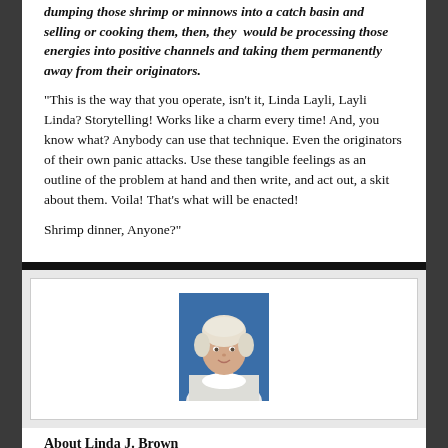dumping those shrimp or minnows into a catch basin and selling or cooking them, then, they would be processing those energies into positive channels and taking them permanently away from their originators.
“This is the way that you operate, isn’t it, Linda Layli, Layli Linda? Storytelling! Works like a charm every time! And, you know what? Anybody can use that technique. Even the originators of their own panic attacks. Use these tangible feelings as an outline of the problem at hand and then write, and act out, a skit about them. Voila! That’s what will be enacted!
Shrimp dinner, Anyone?”
[Figure (photo): Author photo of Linda J. Brown: a woman with short white/blonde hair, wearing a white top, against a blue background]
About Linda J. Brown
Linda is a solo around the world traveler, having slowly